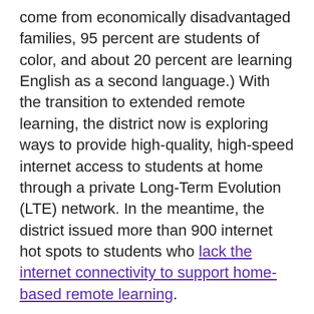come from economically disadvantaged families, 95 percent are students of color, and about 20 percent are learning English as a second language.) With the transition to extended remote learning, the district now is exploring ways to provide high-quality, high-speed internet access to students at home through a private Long-Term Evolution (LTE) network. In the meantime, the district issued more than 900 internet hot spots to students who lack the internet connectivity to support home-based remote learning.
“In some ways, we were more prepared than others [to transition to full distance learning],” McCormick says. “Having the one-to-one initiative for five plus years, investing in the infrastructure, those things have helped but